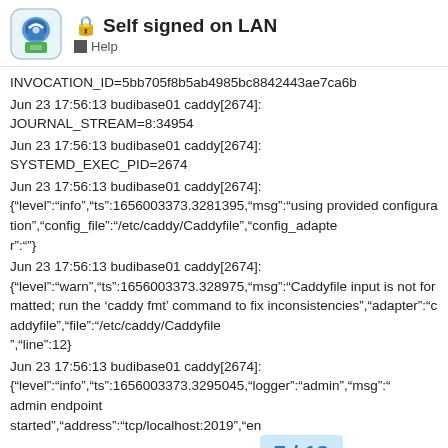Self signed on LAN — Help
INVOCATION_ID=5bb705f8b5ab4985bc8842443ae7ca6b
Jun 23 17:56:13 budibase01 caddy[2674]: JOURNAL_STREAM=8:34954
Jun 23 17:56:13 budibase01 caddy[2674]: SYSTEMD_EXEC_PID=2674
Jun 23 17:56:13 budibase01 caddy[2674]: {"level":"info","ts":1656003373.3281395,"msg":"using provided configuration","config_file":"/etc/caddy/Caddyfile","config_adapter":""}
Jun 23 17:56:13 budibase01 caddy[2674]: {"level":"warn","ts":1656003373.328975,"msg":"Caddyfile input is not formatted; run the ‘caddy fmt’ command to fix inconsistencies","adapter":"caddyfile","file":"/etc/caddy/Caddyfile","line":12}
Jun 23 17:56:13 budibase01 caddy[2674]: {"level":"info","ts":1656003373.3295045,"logger":"admin","msg":"admin endpoint started","address":"tcp/localhost:2019","engines":["//localhost:2019","//[::1]:2019","//127...
7 / 13